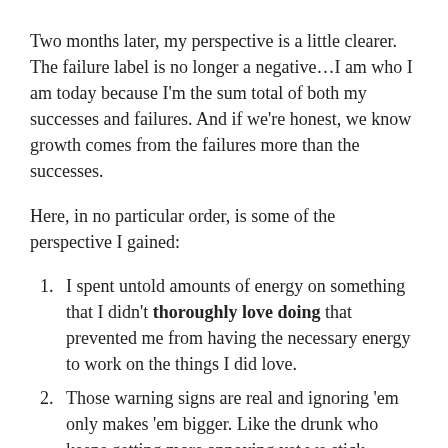Two months later, my perspective is a little clearer. The failure label is no longer a negative…I am who I am today because I'm the sum total of both my successes and failures. And if we're honest, we know growth comes from the failures more than the successes.
Here, in no particular order, is some of the perspective I gained:
I spent untold amounts of energy on something that I didn't thoroughly love doing that prevented me from having the necessary energy to work on the things I did love.
Those warning signs are real and ignoring 'em only makes 'em bigger. Like the drunk who keeps getting more annoying yet we stick around until he vomits on us. Then we get mad at him. I didn't have to wait for it to get SO BAD.
You can't go back. For me, operating a studio…